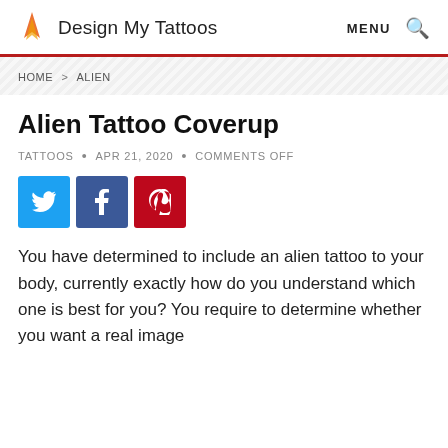Design My Tattoos  MENU 🔍
HOME > ALIEN
Alien Tattoo Coverup
TATTOOS • APR 21, 2020 • COMMENTS OFF
[Figure (other): Social share buttons: Twitter (blue), Facebook (dark blue), Pinterest (red)]
You have determined to include an alien tattoo to your body, currently exactly how do you understand which one is best for you? You require to determine whether you want a real image